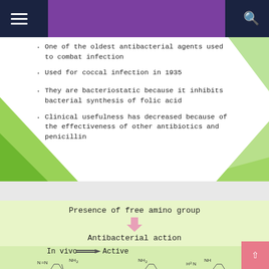Navigation bar with menu and search icons
One of the oldest antibacterial agents used to combat infection
Used for coccal infection in 1935
They are bacteriostatic because it inhibits bacterial synthesis of folic acid
Clinical usefulness has decreased because of the effectiveness of other antibiotics and penicillin
[Figure (flowchart): Flowchart showing: Presence of free amino group → (pink arrow down) → Antibacterial action. Prontosil red → (double arrow) → Prodrug. In vitro → (double arrow) → Inactive. In vivo → (double arrow) → Active.]
[Figure (engineering-diagram): Partial chemical structures of sulfonamide compounds visible at bottom of page]